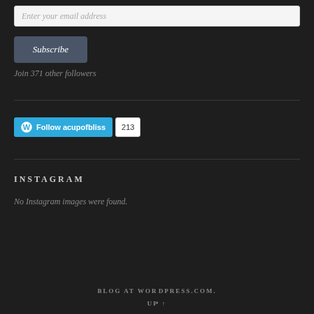Enter your email address
Subscribe
Join 371 other followers
[Figure (other): WordPress Follow button showing 'Follow acupofbliss' with follower count 213]
INSTAGRAM
No Instagram images were found.
BLOG AT WORDPRESS.COM.
UP ↑